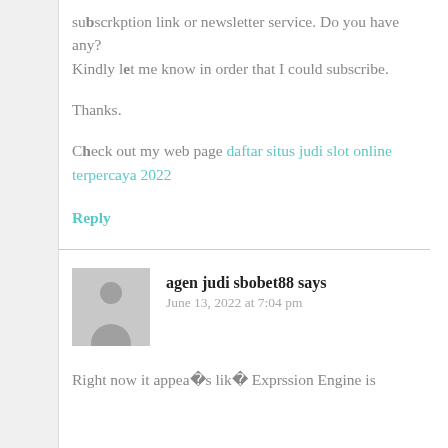subscrkption link or newsletter service. Do you have any? Kindly let me know in order that I could subscribe.
Thanks.
Check out my web page daftar situs judi slot online terpercaya 2022
Reply
[Figure (illustration): Grey avatar placeholder with silhouette of a person]
agen judi sbobet88 says
June 13, 2022 at 7:04 pm
Right now it appears like Exprssion Engine is